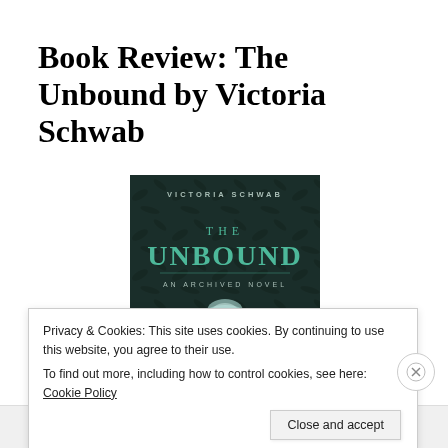Book Review: The Unbound by Victoria Schwab
[Figure (illustration): Book cover of 'The Unbound' by Victoria Schwab — dark teal background with ornamental foliage, author name at top, title 'THE UNBOUND' large in center, subtitle 'AN ARCHIVED NOVEL', hands holding a glowing orb at bottom.]
Privacy & Cookies: This site uses cookies. By continuing to use this website, you agree to their use.
To find out more, including how to control cookies, see here: Cookie Policy
Close and accept
in less than a week